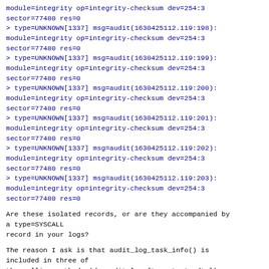module=integrity op=integrity-checksum dev=254:3 sector=77480 res=0
> type=UNKNOWN[1337] msg=audit(1630425112.119:198): module=integrity op=integrity-checksum dev=254:3 sector=77480 res=0
> type=UNKNOWN[1337] msg=audit(1630425112.119:199): module=integrity op=integrity-checksum dev=254:3 sector=77480 res=0
> type=UNKNOWN[1337] msg=audit(1630425112.119:200): module=integrity op=integrity-checksum dev=254:3 sector=77480 res=0
> type=UNKNOWN[1337] msg=audit(1630425112.119:201): module=integrity op=integrity-checksum dev=254:3 sector=77480 res=0
> type=UNKNOWN[1337] msg=audit(1630425112.119:202): module=integrity op=integrity-checksum dev=254:3 sector=77480 res=0
> type=UNKNOWN[1337] msg=audit(1630425112.119:203): module=integrity op=integrity-checksum dev=254:3 sector=77480 res=0
Are these isolated records, or are they accompanied by a type=SYSCALL
record in your logs?
The reason I ask is that audit_log_task_info() is included in three of
the calling methods (dm_audit_log_{target,ctr,dtr})
which use a
combination of AUDIT_DM_CTRL/AUDIT_DM_EVENT type while
the fourth